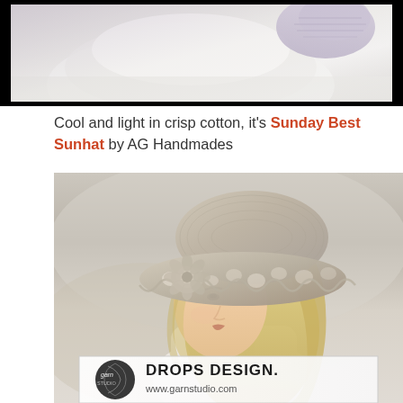[Figure (photo): Partial photo of a crocheted or knitted item in white and light purple/lavender tones, shown against a light background with a black border frame.]
Cool and light in crisp cotton, it's Sunday Best Sunhat by AG Handmades
[Figure (photo): A blonde woman wearing a crocheted beige/cream lace-pattern sun hat with a wide brim and floral detail. She is wearing a light-colored top. At the bottom of the image is a DROPS DESIGN logo with the text 'www.garnstudio.com' and the Garn Studio circular logo.]